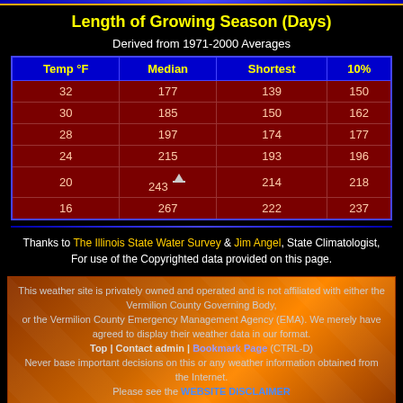Length of Growing Season (Days)
Derived from 1971-2000 Averages
| Temp °F | Median | Shortest | 10% |
| --- | --- | --- | --- |
| 32 | 177 | 139 | 150 |
| 30 | 185 | 150 | 162 |
| 28 | 197 | 174 | 177 |
| 24 | 215 | 193 | 196 |
| 20 | 243 | 214 | 218 |
| 16 | 267 | 222 | 237 |
Thanks to The Illinois State Water Survey & Jim Angel, State Climatologist, For use of the Copyrighted data provided on this page.
This weather site is privately owned and operated and is not affiliated with either the Vermilion County Governing Body, or the Vermilion County Emergency Management Agency (EMA). We merely have agreed to display their weather data in our format. Top | Contact admin | Bookmark Page (CTRL-D) Never base important decisions on this or any weather information obtained from the Internet. Please see the WEBSITE DISCLAIMER. Total Website Views since 9/7/2013